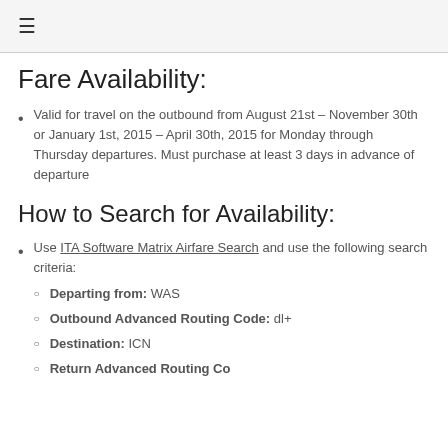≡
Fare Availability:
Valid for travel on the outbound from August 21st – November 30th or January 1st, 2015 – April 30th, 2015 for Monday through Thursday departures. Must purchase at least 3 days in advance of departure
How to Search for Availability:
Use ITA Software Matrix Airfare Search and use the following search criteria:
Departing from: WAS
Outbound Advanced Routing Code: dl+
Destination: ICN